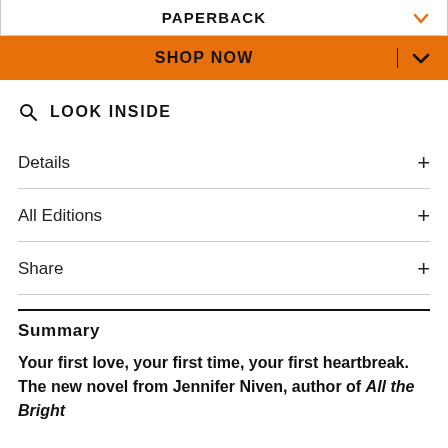PAPERBACK
SHOP NOW
LOOK INSIDE
Details
All Editions
Share
Summary
Your first love, your first time, your first heartbreak. The new novel from Jennifer Niven, author of All the Bright